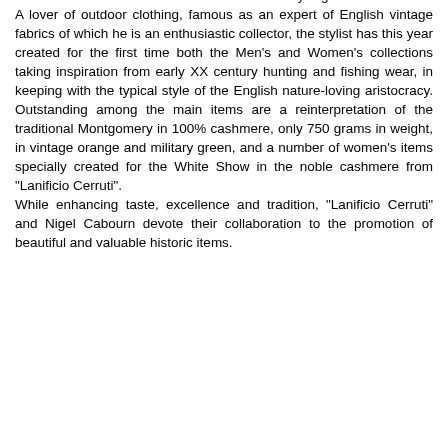a wider use of "Lanificio Cerruti" noble fabrics by Nigel Cabourn. A lover of outdoor clothing, famous as an expert of English vintage fabrics of which he is an enthusiastic collector, the stylist has this year created for the first time both the Men's and Women's collections taking inspiration from early XX century hunting and fishing wear, in keeping with the typical style of the English nature-loving aristocracy. Outstanding among the main items are a reinterpretation of the traditional Montgomery in 100% cashmere, only 750 grams in weight, in vintage orange and military green, and a number of women's items specially created for the White Show in the noble cashmere from "Lanificio Cerruti". While enhancing taste, excellence and tradition, "Lanificio Cerruti" and Nigel Cabourn devote their collaboration to the promotion of beautiful and valuable historic items.